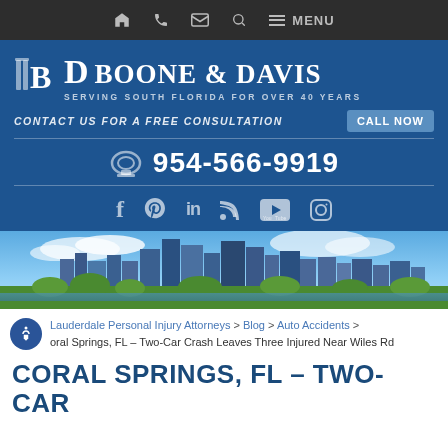Navigation bar with home, phone, email, search, and menu icons
[Figure (logo): Boone & Davis law firm logo with pillars, BD monogram, and tagline 'Serving South Florida for Over 40 Years']
CONTACT US FOR A FREE CONSULTATION   CALL NOW
954-566-9919
[Figure (infographic): Social media icons: Facebook, Pinterest, LinkedIn, RSS, YouTube, Instagram]
[Figure (photo): City skyline photo of Fort Lauderdale / South Florida]
Lauderdale Personal Injury Attorneys > Blog > Auto Accidents > Coral Springs, FL – Two-Car Crash Leaves Three Injured Near Wiles Rd
CORAL SPRINGS, FL – TWO-CAR